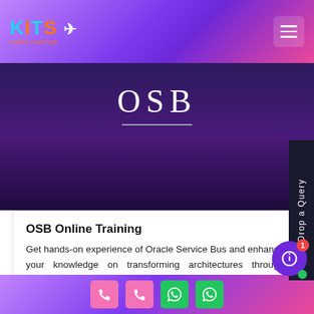KITS online trainings
[Figure (screenshot): OSB (Oracle Service Bus) banner with white text on dark purple gradient background]
OSB Online Training
Get hands-on experience of Oracle Service Bus and enhance your knowledge on transforming architectures through combining and managing interactions between
View | Drop a Query | footer icons